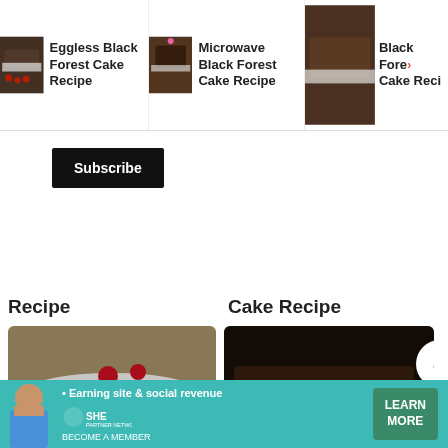[Figure (screenshot): Top navigation bar with recipe thumbnails: Eggless Black Forest Cake Recipe, Microwave Black Forest Cake Recipe, Black Forest Cake Recipe (partial)]
Subscribe
Recipe
Cake Recipe
[Figure (photo): Black Forest Cake slice on a white plate with cherries, heart icon showing 89 likes]
Black Forest Cake Recipe
[Figure (photo): Best Chocolate Cake slice with sprinkles, with up-arrow button (143 votes), heart button, search button, and close button]
Best Chocolate Cake Recipe
[Figure (infographic): SHE Media Partner Network advertisement banner: Earning site & social revenue, Learn More button]